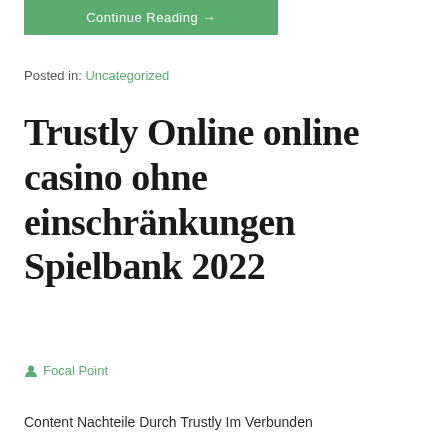Continue Reading →
Posted in: Uncategorized
Trustly Online online casino ohne einschränkungen Spielbank 2022
Focal Point
Content Nachteile Durch Trustly Im Verbunden